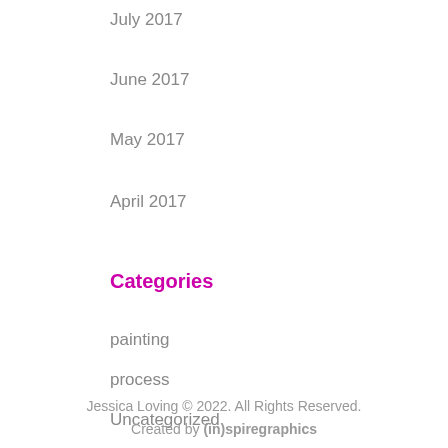July 2017
June 2017
May 2017
April 2017
Categories
painting
process
Uncategorized
Jessica Loving © 2022. All Rights Reserved.
Created by (in)spiregraphics